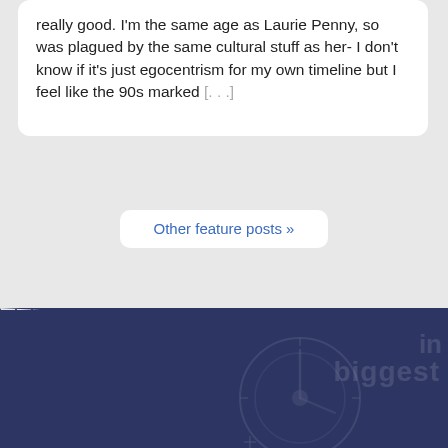really good. I'm the same age as Laurie Penny, so was plagued by the same cultural stuff as her- I don't know if it's just egocentrism for my own timeline but I feel like the 90s marked [...]
Other feature posts »
[Figure (other): Dark navy blue footer section with zigzag border on top and faint watermark text reading 'biggest' and 'in' with a decorative circular/clock-like illustration overlay]